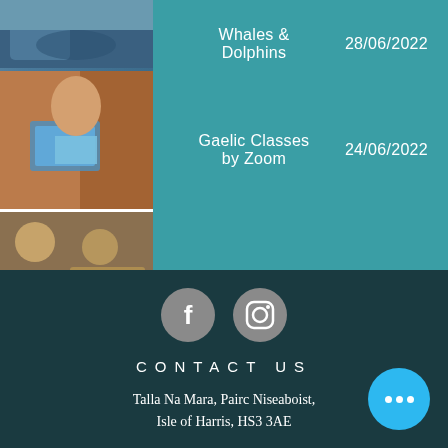| Image | Event | Date |
| --- | --- | --- |
| [whale/dolphin photo] | Whales & Dolphins | 28/06/2022 |
| [person on laptop photo] | Gaelic Classes by Zoom | 24/06/2022 |
| [lunch food photo] | Lunch Club | 28/06/2022 |
| [knitting photo] | Knit and Natter | 28/06/2022 |
[Figure (logo): Facebook and Instagram social media icons in grey circles]
CONTACT US
Talla Na Mara, Pairc Niseaboist, Isle of Harris, HS3 3AE